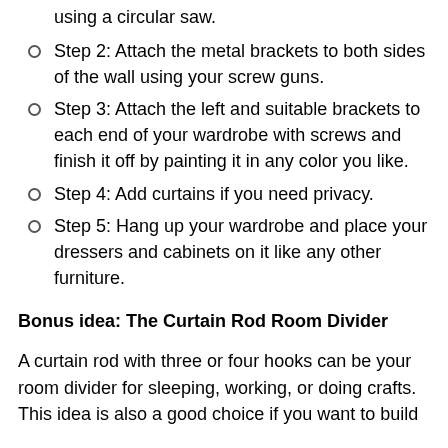using a circular saw.
Step 2: Attach the metal brackets to both sides of the wall using your screw guns.
Step 3: Attach the left and suitable brackets to each end of your wardrobe with screws and finish it off by painting it in any color you like.
Step 4: Add curtains if you need privacy.
Step 5: Hang up your wardrobe and place your dressers and cabinets on it like any other furniture.
Bonus idea: The Curtain Rod Room Divider
A curtain rod with three or four hooks can be your room divider for sleeping, working, or doing crafts. This idea is also a good choice if you want to build